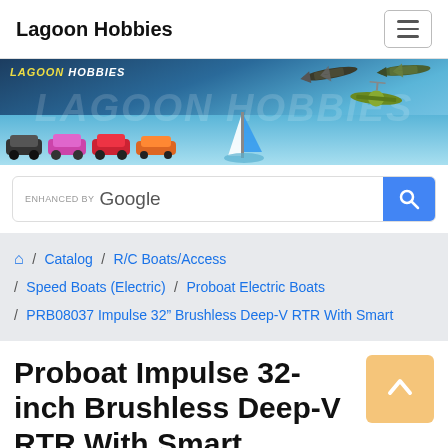Lagoon Hobbies
[Figure (illustration): Lagoon Hobbies banner with RC cars, sailboat, planes, and text watermark]
[Figure (screenshot): Search bar with ENHANCED BY Google label and blue search button]
/ Catalog / R/C Boats/Access / Speed Boats (Electric) / Proboat Electric Boats / PRB08037 Impulse 32" Brushless Deep-V RTR With Smart
Proboat Impulse 32-inch Brushless Deep-V RTR With Smart
R12,999.00